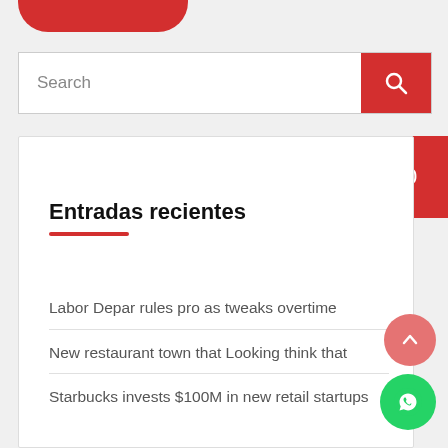[Figure (screenshot): Red pill-shaped button at top, partially visible]
[Figure (screenshot): Search input box with red search button]
[Figure (screenshot): Red badge showing number 0]
Entradas recientes
Labor Depar rules pro as tweaks overtime
New restaurant town that Looking think that
Starbucks invests $100M in new retail startups
[Figure (screenshot): Pink scroll-to-top arrow button]
[Figure (screenshot): Green WhatsApp floating button]